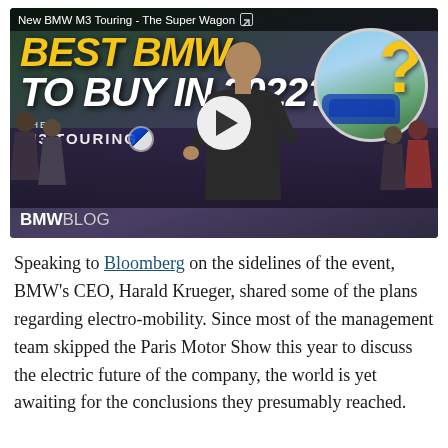[Figure (screenshot): Video thumbnail from BMWBLOG showing a man in a black shirt at what appears to be a BMW event, with text overlay reading 'BEST BMW TO BUY IN 2022?' and 'THE M3 TOURING'. A circular inset shows a blue BMW M3 with a yellow question mark. The video title bar reads 'New BMW M3 Touring - The Super Wagon'. A play button is centered on the thumbnail. BMWBLOG logo appears at the bottom left.]
Speaking to Bloomberg on the sidelines of the event, BMW's CEO, Harald Krueger, shared some of the plans regarding electro-mobility. Since most of the management team skipped the Paris Motor Show this year to discuss the electric future of the company, the world is yet awaiting for the conclusions they presumably reached.